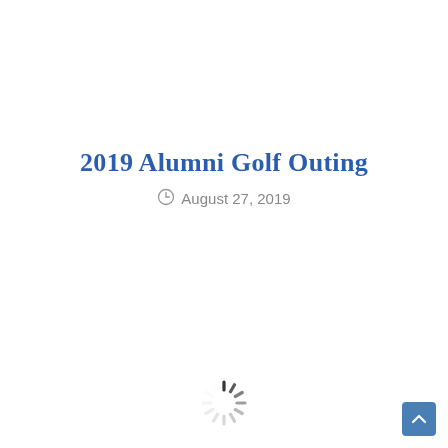2019 Alumni Golf Outing
August 27, 2019
[Figure (other): Loading spinner (animated loading indicator) near bottom center of page]
[Figure (other): Scroll-to-top button, blue square with upward arrow, bottom right corner]